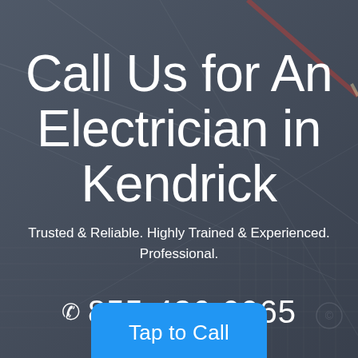[Figure (photo): Dark grey background with faint engineering/electrical diagram lines and a pencil visible, creating a professional trade services look]
Call Us for An Electrician in Kendrick
Trusted & Reliable. Highly Trained & Experienced. Professional.
☎ 855-436-0065
Tap to Call